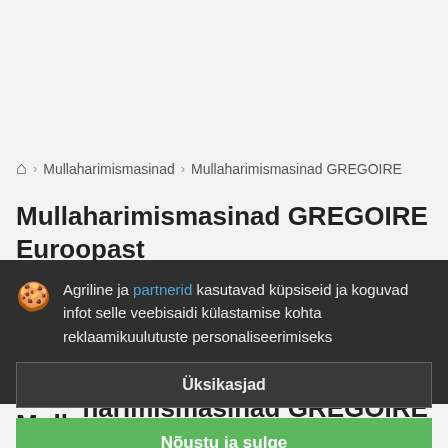Mullaharimismasinad > Mullaharimismasinad GREGOIRE
Mullaharimismasinad GREGOIRE Euroopast
Agriline ja partnerid kasutavad küpsiseid ja koguvad infot selle veebisaidi külastamise kohta reklaamikuulutuste personaliseerimiseks
Üksikasjad
Nõustu ja sulge
Mullaharimismasinad GREGOIRE S...